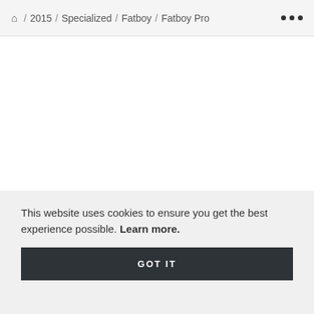🏠 / 2015 / Specialized / Fatboy / Fatboy Pro ···
This website uses cookies to ensure you get the best experience possible. Learn more.
GOT IT